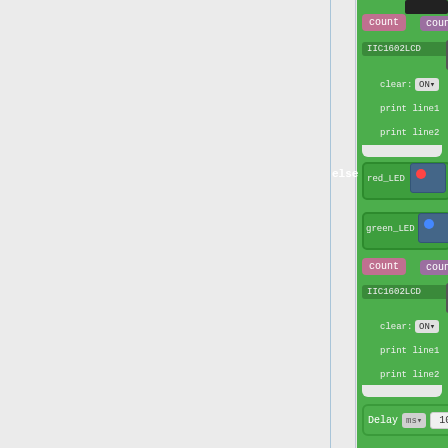[Figure (screenshot): Block-based programming interface screenshot showing visual code blocks on a green background. Contains blocks for: count variable assignment (count + 1), IIC1602LCD display block with clear ON, print line1, print line2. An 'else' branch with red_LED Pin ledPin1 block, green_LED Pin ledPin block, count variable (count - 1), another IIC1602LCD block with clear ON, print line1, print line2. A Delay block with ms dropdown and value 1000. Left side shows grey panel with blue vertical line.]